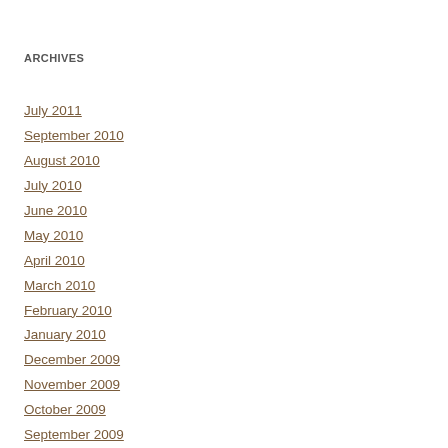ARCHIVES
July 2011
September 2010
August 2010
July 2010
June 2010
May 2010
April 2010
March 2010
February 2010
January 2010
December 2009
November 2009
October 2009
September 2009
August 2009